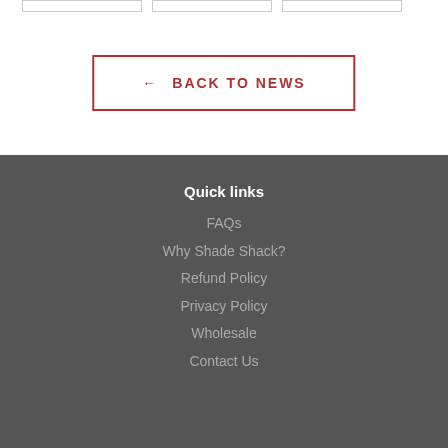← BACK TO NEWS
Quick links
FAQs
Why Shade Shack?
Refund Policy
Privacy Policy
Wholesale
Contact Us